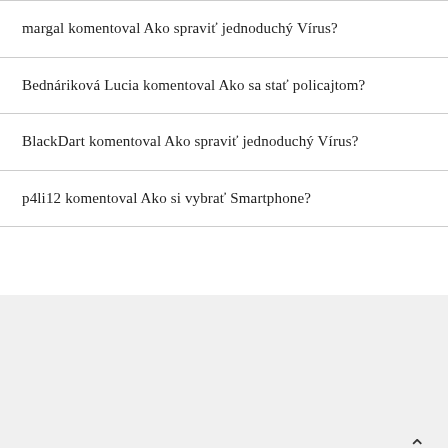margal komentoval Ako spraviť jednoduchý Vírus?
Bednáriková Lucia komentoval Ako sa stať policajtom?
BlackDart komentoval Ako spraviť jednoduchý Vírus?
p4li12 komentoval Ako si vybrať Smartphone?
Savona Theme by Optima Themes